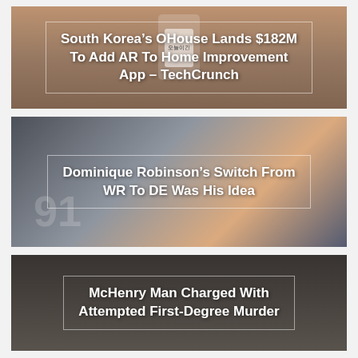[Figure (photo): Person holding a smartphone with Korean text on screen, warm tan/brown background. Headline card: South Korea's OHouse Lands $182M To Add AR To Home Improvement App – TechCrunch]
South Korea's OHouse Lands $182M To Add AR To Home Improvement App – TechCrunch
[Figure (photo): American football player wearing jersey number 91, dark/orange background suggesting stadium. Headline card: Dominique Robinson's Switch From WR To DE Was His Idea]
Dominique Robinson's Switch From WR To DE Was His Idea
[Figure (photo): Dark, moody scene with structures in the background. Headline card: McHenry Man Charged With Attempted First-Degree Murder]
McHenry Man Charged With Attempted First-Degree Murder